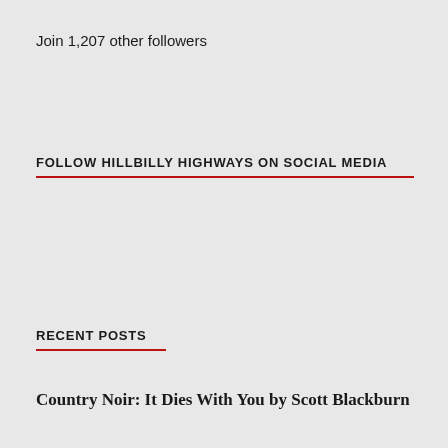Join 1,207 other followers
FOLLOW HILLBILLY HIGHWAYS ON SOCIAL MEDIA
RECENT POSTS
Country Noir: It Dies With You by Scott Blackburn